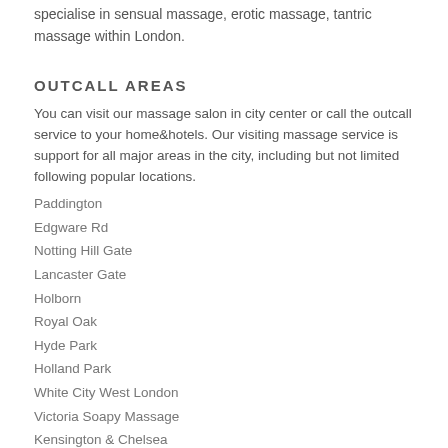specialise in sensual massage, erotic massage, tantric massage within London.
OUTCALL AREAS
You can visit our massage salon in city center or call the outcall service to your home&hotels. Our visiting massage service is support for all major areas in the city, including but not limited following popular locations.
Paddington
Edgware Rd
Notting Hill Gate
Lancaster Gate
Holborn
Royal Oak
Hyde Park
Holland Park
White City West London
Victoria Soapy Massage
Kensington & Chelsea
Edgware Rd